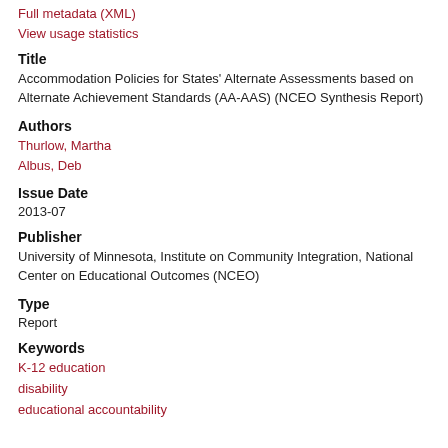Full metadata (XML)
View usage statistics
Title
Accommodation Policies for States' Alternate Assessments based on Alternate Achievement Standards (AA-AAS) (NCEO Synthesis Report)
Authors
Thurlow, Martha
Albus, Deb
Issue Date
2013-07
Publisher
University of Minnesota, Institute on Community Integration, National Center on Educational Outcomes (NCEO)
Type
Report
Keywords
K-12 education
disability
educational accountability